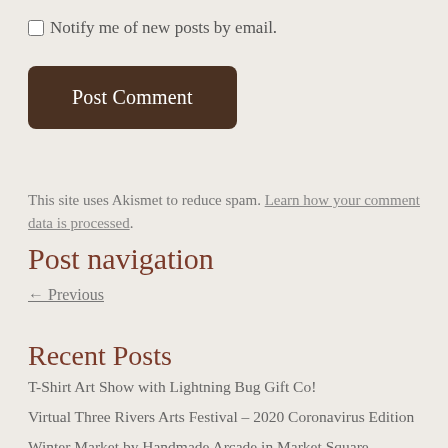Notify me of new posts by email.
Post Comment
This site uses Akismet to reduce spam. Learn how your comment data is processed.
Post navigation
← Previous
Recent Posts
T-Shirt Art Show with Lightning Bug Gift Co!
Virtual Three Rivers Arts Festival – 2020 Coronavirus Edition
Winter Market by Handmade Arcade in Market Square